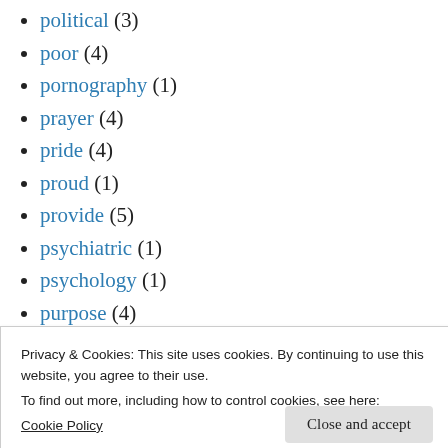political (3)
poor (4)
pornography (1)
prayer (4)
pride (4)
proud (1)
provide (5)
psychiatric (1)
psychology (1)
purpose (4)
racism (2)
Privacy & Cookies: This site uses cookies. By continuing to use this website, you agree to their use.
To find out more, including how to control cookies, see here:
Cookie Policy
Close and accept
rights (1)